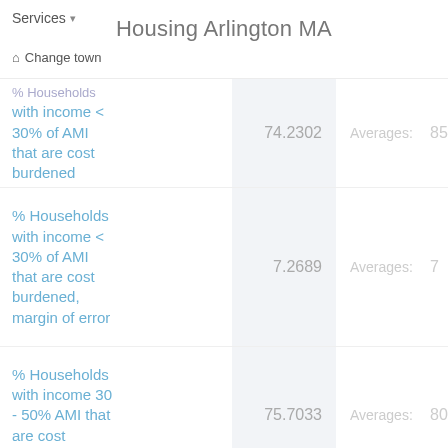Housing Arlington MA
Services
Change town
| Metric | Value | Averages | Avg Value |
| --- | --- | --- | --- |
| % Households with income < 30% of AMI that are cost burdened | 74.2302 | Averages: | 85.02 |
| % Households with income < 30% of AMI that are cost burdened, margin of error | 7.2689 | Averages: | 7 |
| % Households with income 30 - 50% AMI that are cost burdened | 75.7033 | Averages: | 80.07 |
| % Households |  |  |  |